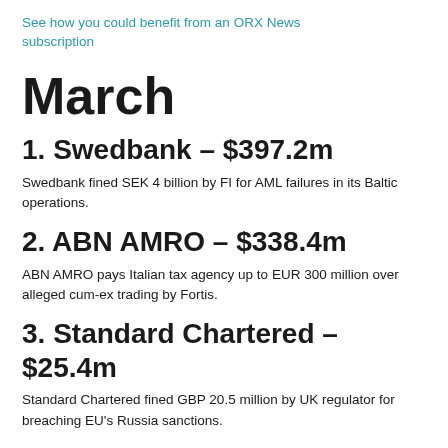See how you could benefit from an ORX News subscription
March
1. Swedbank – $397.2m
Swedbank fined SEK 4 billion by FI for AML failures in its Baltic operations.
2. ABN AMRO – $338.4m
ABN AMRO pays Italian tax agency up to EUR 300 million over alleged cum-ex trading by Fortis.
3. Standard Chartered – $25.4m
Standard Chartered fined GBP 20.5 million by UK regulator for breaching EU's Russia sanctions.